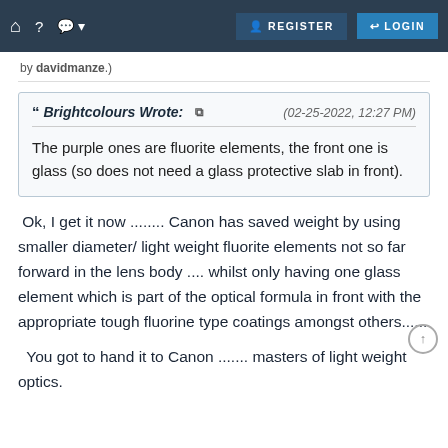REGISTER  LOGIN
by davidmanze.)
Brightcolours Wrote: (02-25-2022, 12:27 PM)
The purple ones are fluorite elements, the front one is glass (so does not need a glass protective slab in front).
Ok, I get it now ........ Canon has saved weight by using smaller diameter/ light weight fluorite elements not so far forward in the lens body .... whilst only having one glass element which is part of the optical formula in front with the appropriate tough fluorine type coatings amongst others......
You got to hand it to Canon ....... masters of light weight optics.